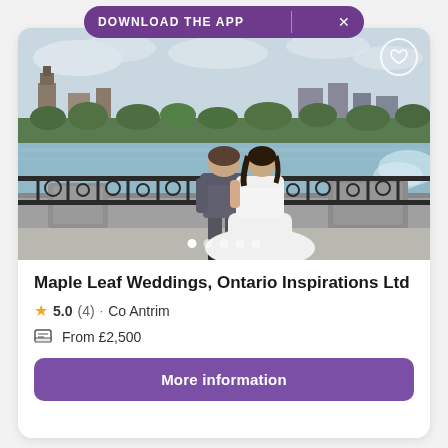DOWNLOAD THE APP
[Figure (photo): Wedding couple standing at an ornate iron railing overlooking a waterfall (Niagara Falls) with a city skyline in the background. The groom is in a gray suit and the bride in a white gown with a long train.]
Maple Leaf Weddings, Ontario Inspirations Ltd
5.0 (4) · Co Antrim
From £2,500
More information